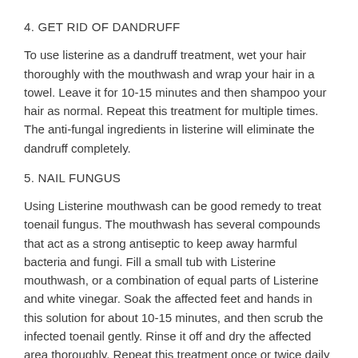4. GET RID OF DANDRUFF
To use listerine as a dandruff treatment, wet your hair thoroughly with the mouthwash and wrap your hair in a towel. Leave it for 10-15 minutes and then shampoo your hair as normal. Repeat this treatment for multiple times. The anti-fungal ingredients in listerine will eliminate the dandruff completely.
5. NAIL FUNGUS
Using Listerine mouthwash can be good remedy to treat toenail fungus. The mouthwash has several compounds that act as a strong antiseptic to keep away harmful bacteria and fungi. Fill a small tub with Listerine mouthwash, or a combination of equal parts of Listerine and white vinegar. Soak the affected feet and hands in this solution for about 10-15 minutes, and then scrub the infected toenail gently. Rinse it off and dry the affected area thoroughly. Repeat this treatment once or twice daily until the infection clears.